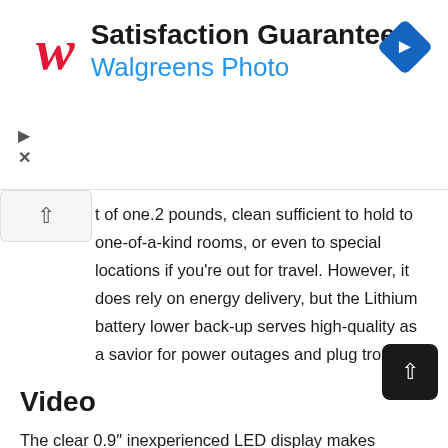[Figure (screenshot): Walgreens Photo advertisement banner with red Walgreens logo, 'Satisfaction Guaranteed' heading, 'Walgreens Photo' subtitle in blue, and a blue diamond navigation icon on the right. Close/play controls on the left.]
t of one.2 pounds, clean sufficient to hold to one-of-a-kind rooms, or even to special locations if you’re out for travel. However, it does rely on energy delivery, but the Lithium battery lower back-up serves high-quality as a savior for power outages and plug troubles.
Video
The clear 0.9” inexperienced LED display makes searching on time no trouble in any respect, even if you’re in extraordinary areas of the room. It’s spotless to peer t… time even at a distance, making it relaxed to apply in any room. I myself like to shower with the restroom door open and…